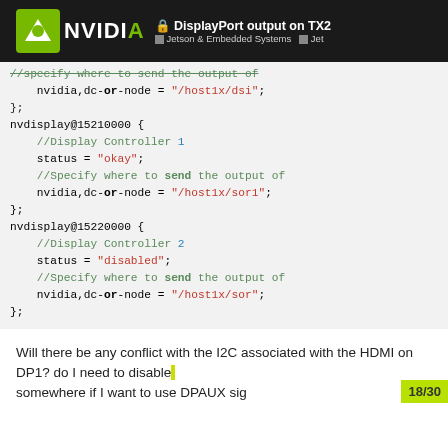DisplayPort output on TX2 | Jetson & Embedded Systems | Jet
//specify where to send the output of
    nvidia,dc-or-node = "/host1x/dsi";
};
nvdisplay@15210000 {
    //Display Controller 1
    status = "okay";
    //Specify where to send the output of
    nvidia,dc-or-node = "/host1x/sor1";
};
nvdisplay@15220000 {
    //Display Controller 2
    status = "disabled";
    //Specify where to send the output of
    nvidia,dc-or-node = "/host1x/sor";
};
Will there be any conflict with the I2C associated with the HDMI on DP1? do I need to disable ... somewhere if I want to use DPAUX sig...